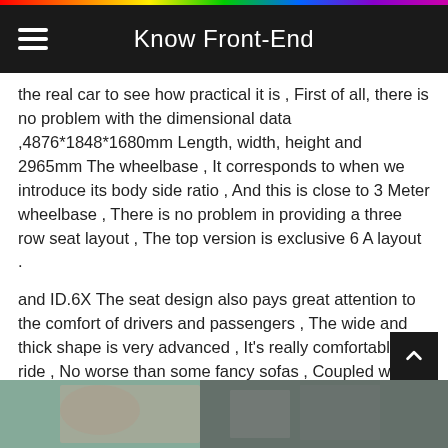Know Front-End
the real car to see how practical it is , First of all, there is no problem with the dimensional data ,4876*1848*1680mm Length, width, height and 2965mm The wheelbase , It corresponds to when we introduce its body side ratio , And this is close to 3 Meter wheelbase , There is no problem in providing a three row seat layout , The top version is exclusive 6 A layout .
and ID.6X The seat design also pays great attention to the comfort of drivers and passengers , The wide and thick shape is very advanced , It's really comfortable to ride , No worse than some fancy sofas , Coupled with many comfort configurations , Count as 30 Within ten thousand is the best .
[Figure (photo): Interior photo of a car showing seats and cabin]